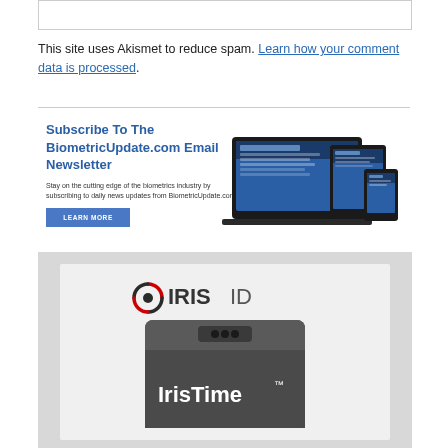This site uses Akismet to reduce spam. Learn how your comment data is processed.
[Figure (infographic): Subscribe To The BiometricUpdate.com Email Newsletter banner with devices (laptop, tablet, phone) showing the BiometricUpdate.com website, with a Learn More button]
[Figure (logo): IRIS ID logo with IrisTime device advertisement]